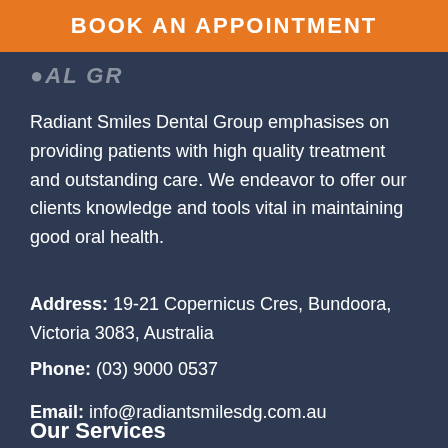BOOK AN APPOINTMENT
[Figure (logo): Partial logo text reading 'AL GR' (cropped logo of Radiant Smiles Dental Group)]
Radiant Smiles Dental Group emphasises on providing patients with high quality treatment and outstanding care. We endeavor to offer our clients knowledge and tools vital in maintaining good oral health.
Address: 19-21 Copernicus Cres, Bundoora, Victoria 3083, Australia
Phone: (03) 9000 0537
Email: info@radiantsmilesdg.com.au
Our Services